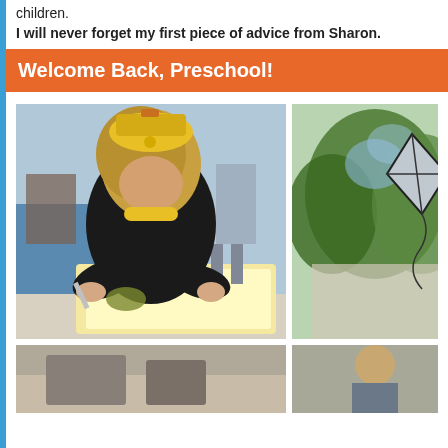children.
I will never forget my first piece of advice from Sharon.
Welcome Back, Preschool!
[Figure (photo): A young child wearing a yellow hat and black jacket, leaning over a light table examining something with a tool.]
[Figure (photo): Outdoor scene with trees and what appears to be a kite or wind object.]
[Figure (photo): Partially visible photo at bottom left, showing preschool activity.]
[Figure (photo): Partially visible photo at bottom right, showing a person.]